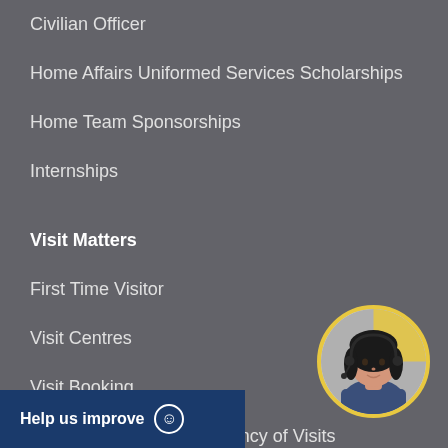Civilian Officer
Home Affairs Uniformed Services Scholarships
Home Team Sponsorships
Internships
Visit Matters
First Time Visitor
Visit Centres
Visit Booking
Mode of Visits and Frequency of Visits
Who Can Visit
[Figure (illustration): Circular avatar of a female customer service representative with headset, wearing a blue uniform, with yellow arc background]
Help us improve 😊